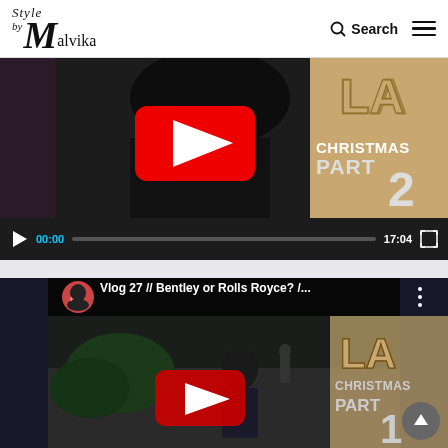Style by Malvika — Search / Menu
[Figure (screenshot): Embedded video player showing a YouTube video - LA Christmas Part 2, paused at 00:00, total duration 17:04, with dark controls bar]
[Figure (screenshot): YouTube video embed preview - Vlog 27 // Bentley or Rolls Royce? /... showing LA Christmas Part 1 thumbnail with play button]